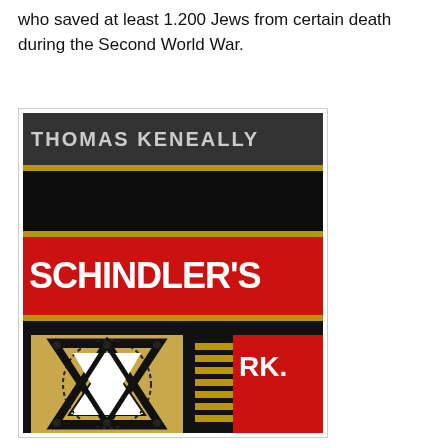who saved at least 1.200 Jews from certain death during the Second World War.
[Figure (photo): Book cover of 'Schindler's Ark' by Thomas Keneally. Black cover with author name at top in gray, bold red band with white text 'SCHINDLER'S', gold/tan square containing a Star of David made of barbed wire, and 'ARK.' text in white on red background.]